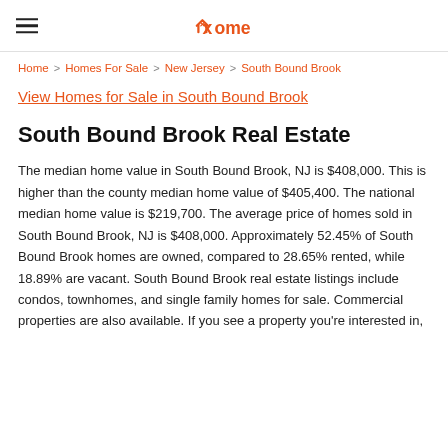xome
Home > Homes For Sale > New Jersey > South Bound Brook
View Homes for Sale in South Bound Brook
South Bound Brook Real Estate
The median home value in South Bound Brook, NJ is $408,000. This is higher than the county median home value of $405,400. The national median home value is $219,700. The average price of homes sold in South Bound Brook, NJ is $408,000. Approximately 52.45% of South Bound Brook homes are owned, compared to 28.65% rented, while 18.89% are vacant. South Bound Brook real estate listings include condos, townhomes, and single family homes for sale. Commercial properties are also available. If you see a property you're interested in,